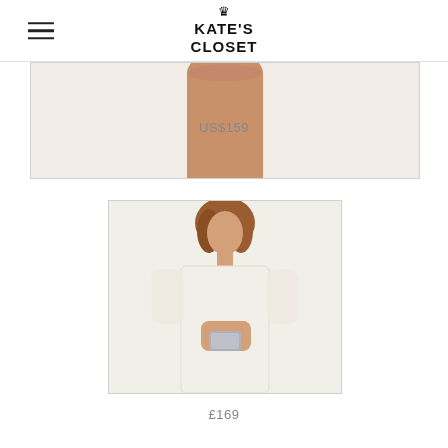KATE'S CLOSET
[Figure (photo): Cropped product photo showing the lower torso area of a model wearing a tan/nude colored dress]
US$159
[Figure (photo): Full product photo of a woman wearing a white lace midi dress with 3/4 sleeves, holding a silver clutch]
£169